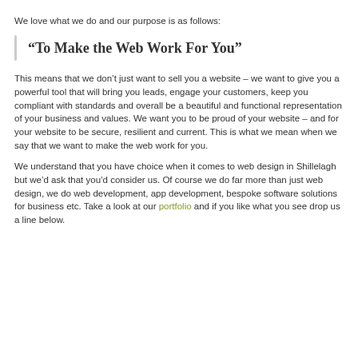We love what we do and our purpose is as follows:
“To Make the Web Work For You”
This means that we don’t just want to sell you a website – we want to give you a powerful tool that will bring you leads, engage your customers, keep you compliant with standards and overall be a beautiful and functional representation of your business and values. We want you to be proud of your website – and for your website to be secure, resilient and current. This is what we mean when we say that we want to make the web work for you.
We understand that you have choice when it comes to web design in Shillelagh but we’d ask that you’d consider us. Of course we do far more than just web design, we do web development, app development, bespoke software solutions for business etc. Take a look at our portfolio and if you like what you see drop us a line below.